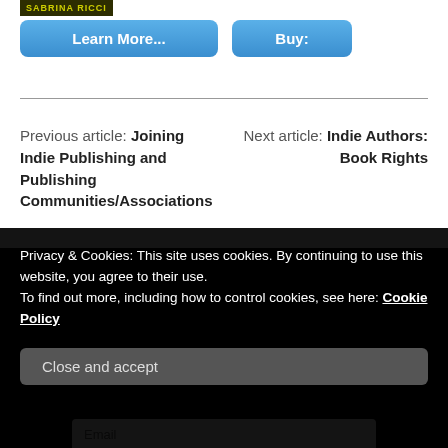SABRINA RICCI
Learn More...
Buy:
Previous article: Joining Indie Publishing and Publishing Communities/Associations
Next article: Indie Authors: Book Rights
Privacy & Cookies: This site uses cookies. By continuing to use this website, you agree to their use.
To find out more, including how to control cookies, see here: Cookie Policy
Close and accept
Email